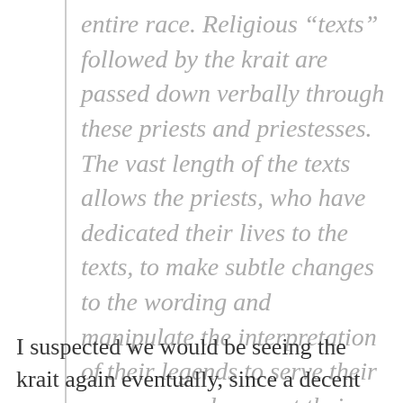entire race. Religious “texts” followed by the krait are passed down verbally through these priests and priestesses. The vast length of the texts allows the priests, who have dedicated their lives to the texts, to make subtle changes to the wording and manipulate the interpretation of their legends to serve their purposes and support their power.
I suspected we would be seeing the krait again eventually, since a decent amount of